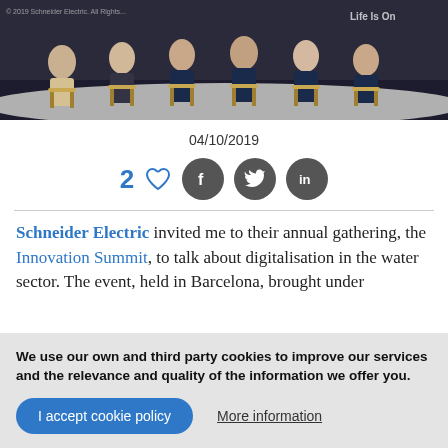[Figure (photo): Panel discussion on a dark stage with several speakers seated on chairs, event backdrop visible]
04/10/2019
[Figure (infographic): Social sharing row: 2 likes (heart icon), Facebook, Twitter, LinkedIn buttons]
Schneider Electric invited me to their annual gathering, the Innovation Summit, to talk about digitalisation in the water sector. The event, held in Barcelona, brought under
We use our own and third party cookies to improve our services and the relevance and quality of the information we offer you.
I accept cookie policy
More information